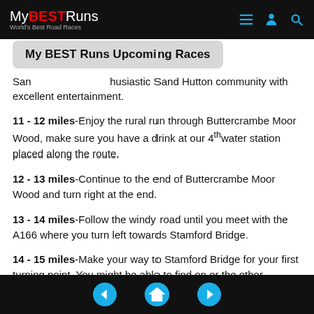MyBESTRuns – World's Best Road Races
My BEST Runs Upcoming Races
Sand... enthusiastic Sand Hutton community with excellent entertainment.
11 - 12 miles-Enjoy the rural run through Buttercrambe Moor Wood, make sure you have a drink at our 4th water station placed along the route.
12 - 13 miles-Continue to the end of Buttercrambe Moor Wood and turn right at the end.
13 - 14 miles-Follow the windy road until you meet with the A166 where you turn left towards Stamford Bridge.
14 - 15 miles-Make your way to Stamford Bridge for your first turning point. You might be able to find on or the other supporter at this point. Make your way towards
Navigation: back, home, forward